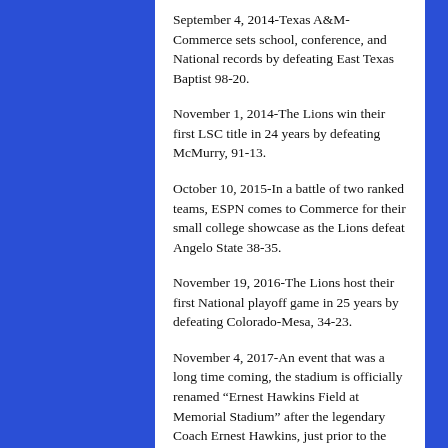September 4, 2014-Texas A&M-Commerce sets school, conference, and National records by defeating East Texas Baptist 98-20.
November 1, 2014-The Lions win their first LSC title in 24 years by defeating McMurry, 91-13.
October 10, 2015-In a battle of two ranked teams, ESPN comes to Commerce for their small college showcase as the Lions defeat Angelo State 38-35.
November 19, 2016-The Lions host their first National playoff game in 25 years by defeating Colorado-Mesa, 34-23.
November 4, 2017-An event that was a long time coming, the stadium is officially renamed “Ernest Hawkins Field at Memorial Stadium” after the legendary Coach Ernest Hawkins, just prior to the start of the game against Texas-Permian Basin. The Lions win 52-0, and the stadium has a new nickname, “The Hawk.”